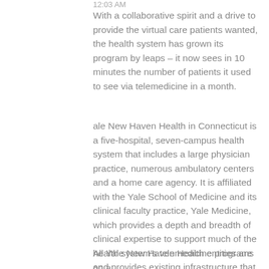12:03 AM
With a collaborative spirit and a drive to provide the virtual care patients wanted, the health system has grown its program by leaps – it now sees in 10 minutes the number of patients it used to see via telemedicine in a month.
ale New Haven Health in Connecticut is a five-hospital, seven-campus health system that includes a large physician practice, numerous ambulatory centers and a home care agency. It is affiliated with the Yale School of Medicine and its clinical faculty practice, Yale Medicine, which provides a depth and breadth of clinical expertise to support much of the health system's telemedicine programs and provides existing infrastructure that supports joint development of telehealth programs.
All Yale New Haven Health entities are on a